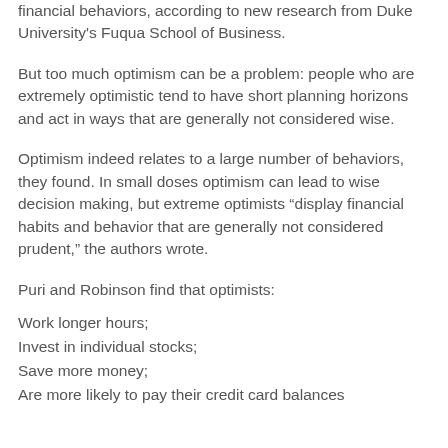financial behaviors, according to new research from Duke University's Fuqua School of Business.
But too much optimism can be a problem: people who are extremely optimistic tend to have short planning horizons and act in ways that are generally not considered wise.
Optimism indeed relates to a large number of behaviors, they found. In small doses optimism can lead to wise decision making, but extreme optimists “display financial habits and behavior that are generally not considered prudent,” the authors wrote.
Puri and Robinson find that optimists:
Work longer hours;
Invest in individual stocks;
Save more money;
Are more likely to pay their credit card balances